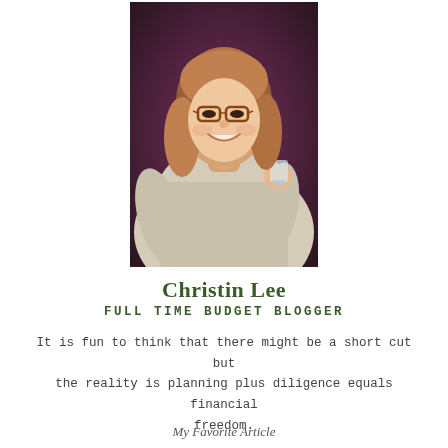[Figure (photo): Portrait photo of Christin Lee, a woman with long reddish-brown hair, glasses, wearing a light beige/cream long-sleeve top, smiling and holding a glass, photographed against a dark background.]
Christin Lee
FULL TIME BUDGET BLOGGER
It is fun to think that there might be a short cut but the reality is planning plus diligence equals financial freedom.
My Favorite Article